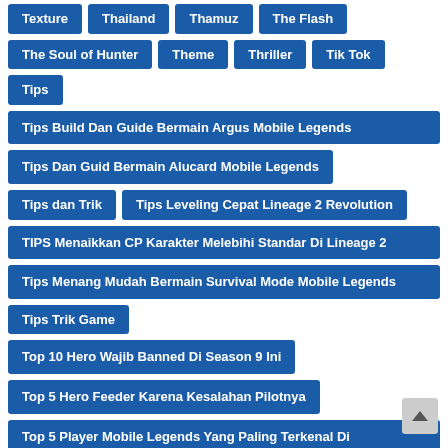Texture
Thailand
Thamuz
The Flash
The Soul of Hunter
Theme
Thriller
Tik Tok
Tips
Tips Build Dan Guide Bermain Argus Mobile Legends
Tips Dan Guid Bermain Alucard Mobile Legends
Tips dan Trik
Tips Leveling Cepat Lineage 2 Revolution
TIPS Menaikkan CP Karakter Melebihi Standar Di Lineage 2
Tips Menang Mudah Bermain Survival Mode Mobile Legends
Tips Trik Game
Top 10 Hero Wajib Banned Di Season 9 Ini
Top 5 Hero Feeder Karena Kesalahan Pilotnya
Top 5 Player Mobile Legends Yang Paling Terkenal Di
Top 7 Hero Mobile Legends Yang Sering Dipakai Oleh Playe
Total Hadiah 1.4 Miliar Telah Disiapkan Untuk Pemenang